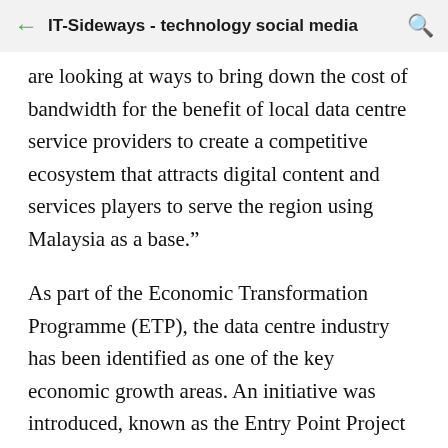IT-Sideways - technology social media
are looking at ways to bring down the cost of bandwidth for the benefit of local data centre service providers to create a competitive ecosystem that attracts digital content and services players to serve the region using Malaysia as a base.”
As part of the Economic Transformation Programme (ETP), the data centre industry has been identified as one of the key economic growth areas. An initiative was introduced, known as the Entry Point Project (EPP3) under the Business Services National Key Economic Area